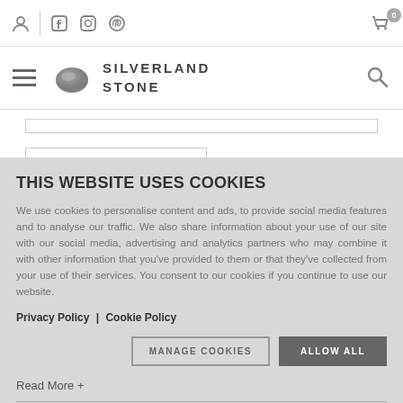Silverland Stone website header with navigation icons and logo
THIS WEBSITE USES COOKIES
We use cookies to personalise content and ads, to provide social media features and to analyse our traffic. We also share information about your use of our site with our social media, advertising and analytics partners who may combine it with other information that you've provided to them or that they've collected from your use of their services. You consent to our cookies if you continue to use our website.
Privacy Policy | Cookie Policy
MANAGE COOKIES   ALLOW ALL
Read More +